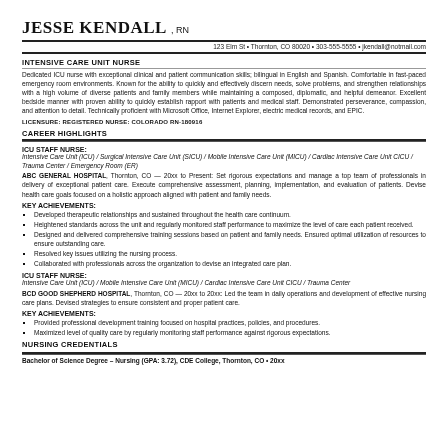Jesse Kendall, RN
123 Elm St • Thornton, CO 80020 • 303-555-5555 • jkendall@notmail.com
INTENSIVE CARE UNIT NURSE
Dedicated ICU nurse with exceptional clinical and patient communication skills; bilingual in English and Spanish. Comfortable in fast-paced emergency room environments. Known for the ability to quickly and effectively discern needs, solve problems, and strengthen relationships with a high volume of diverse patients and family members while maintaining a composed, diplomatic, and helpful demeanor. Excellent bedside manner with proven ability to quickly establish rapport with patients and medical staff. Demonstrated perseverance, compassion, and attention to detail. Technically proficient with Microsoft Office, Internet Explorer, electric medical records, and EPIC.
LICENSURE: Registered Nurse: Colorado RN-180916
CAREER HIGHLIGHTS
ICU STAFF NURSE:
Intensive Care Unit (ICU) / Surgical Intensive Care Unit (SICU) / Mobile Intensive Care Unit (MICU) / Cardiac Intensive Care Unit CICU / Trauma Center / Emergency Room (ER)
ABC GENERAL HOSPITAL, Thornton, CO — 20xx to Present: Set rigorous expectations and manage a top team of professionals in delivery of exceptional patient care. Execute comprehensive assessment, planning, implementation, and evaluation of patients. Devise health care goals focused on a holistic approach aligned with patient and family needs.
KEY ACHIEVEMENTS:
Developed therapeutic relationships and sustained throughout the health care continuum.
Heightened standards across the unit and regularly monitored staff performance to maximize the level of care each patient received.
Designed and delivered comprehensive training sessions based on patient and family needs. Ensured optimal utilization of resources to ensure outstanding care.
Resolved key issues utilizing the nursing process.
Collaborated with professionals across the organization to devise an integrated care plan.
ICU STAFF NURSE:
Intensive Care Unit (ICU) / Mobile Intensive Care Unit (MICU) / Cardiac Intensive Care Unit CICU / Trauma Center
BCD GOOD SHEPHERD HOSPITAL, Thornton, CO — 20xx to 20xx: Led the team in daily operations and development of effective nursing care plans. Devised strategies to ensure consistent and proper patient care.
KEY ACHIEVEMENTS:
Provided professional development training focused on hospital practices, policies, and procedures.
Maximized level of quality care by regularly monitoring staff performance against rigorous expectations.
NURSING CREDENTIALS
Bachelor of Science Degree – Nursing (GPA: 3.72), CDE College, Thornton, CO • 20xx